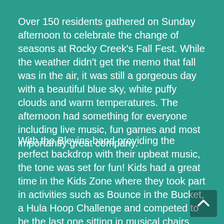Over 150 residents gathered on Sunday afternoon to celebrate the change of seasons at Rocky Creek's Fall Fest. While the weather didn't get the memo that fall was in the air, it was still a gorgeous day with a beautiful blue sky, white puffy clouds and warm temperatures. The afternoon had something for everyone including live music, fun games and most importantly great company.
With the Blevins band providing the perfect backdrop with their upbeat music, the tone was set for fun! Kids had a great time in the Kids Zone where they took part in activities such as Bounce in the Bucket, a Hula Hoop Challenge and competed to be the last one sitting in musical chairs.  They also had the opportunity to get up close and